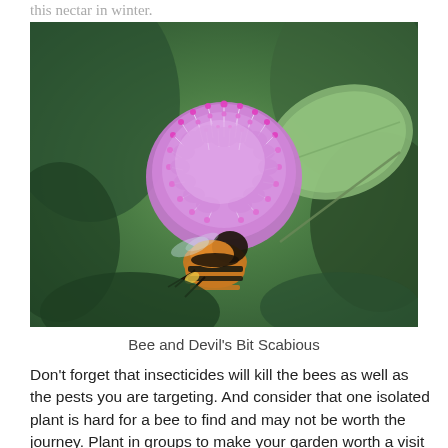this nectar in winter.
[Figure (photo): Close-up photograph of a bumblebee clinging to and feeding from a purple Devil's Bit Scabious flower head, with green blurred foliage in the background.]
Bee and Devil's Bit Scabious
Don't forget that insecticides will kill the bees as well as the pests you are targeting. And consider that one isolated plant is hard for a bee to find and may not be worth the journey. Plant in groups to make your garden worth a visit